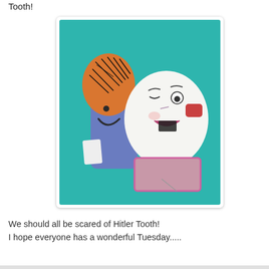Tooth!
[Figure (photo): Photo of two paper craft characters on a teal background. Left character is a blue/purple tooth-like shape with an orange and black patterned cap and a smiling face. Right character is a white tooth shape with a face drawn on it (wide open mouth with black marks, one eye larger, rosy red cheek) and a pink/mauve rectangular body portion below.]
We should all be scared of Hitler Tooth!
I hope everyone has a wonderful Tuesday.....